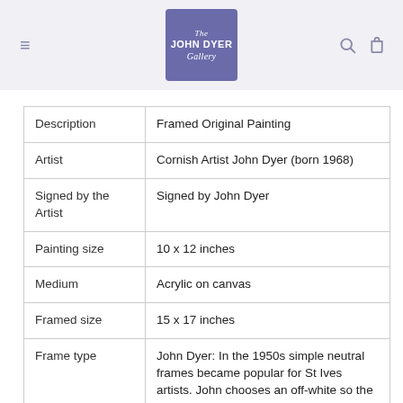The John Dyer Gallery
| Description | Framed Original Painting |
| Artist | Cornish Artist John Dyer (born 1968) |
| Signed by the Artist | Signed by John Dyer |
| Painting size | 10 x 12 inches |
| Medium | Acrylic on canvas |
| Framed size | 15 x 17 inches |
| Frame type | John Dyer: In the 1950s simple neutral frames became popular for St Ives artists. John chooses an off-white so the lightest tones appear in the |